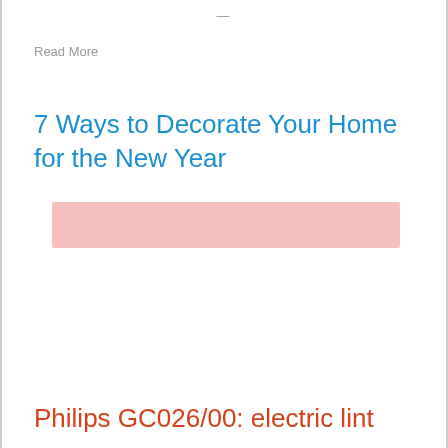—
Read More
7 Ways to Decorate Your Home for the New Year
[Figure (other): Pink/salmon colored rectangular bar, likely a placeholder image or UI element]
Philips GC026/00: electric lint